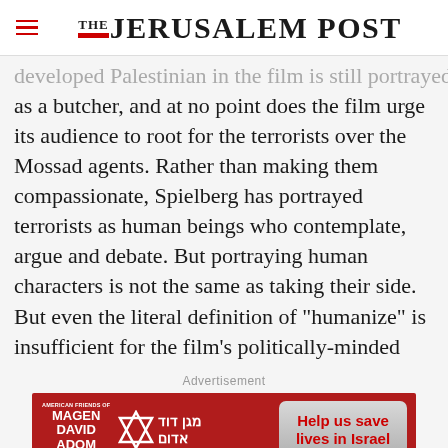THE JERUSALEM POST
developed Palestinian in the film is still portrayed as a butcher, and at no point does the film urge its audience to root for the terrorists over the Mossad agents. Rather than making them compassionate, Spielberg has portrayed terrorists as human beings who contemplate, argue and debate. But portraying human characters is not the same as taking their side. But even the literal definition of "humanize" is insufficient for the film's politically-minded
[Figure (infographic): American Friends of Magen David Adom advertisement banner with Star of David logo and Hebrew text, with a button reading 'Help us save lives in Israel']